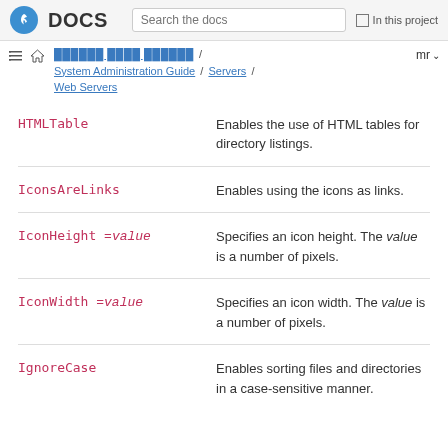Fedora DOCS | Search the docs | In this project
System Administration Guide / Servers / Web Servers | mr
| Option | Description |
| --- | --- |
| HTMLTable | Enables the use of HTML tables for directory listings. |
| IconsAreLinks | Enables using the icons as links. |
| IconHeight =value | Specifies an icon height. The value is a number of pixels. |
| IconWidth =value | Specifies an icon width. The value is a number of pixels. |
| IgnoreCase | Enables sorting files and directories in a case-sensitive manner. |